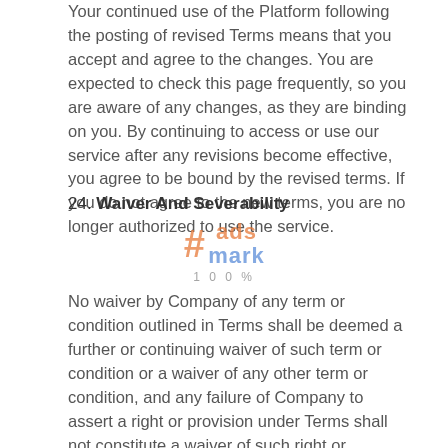Your continued use of the Platform following the posting of revised Terms means that you accept and agree to the changes. You are expected to check this page frequently, so you are aware of any changes, as they are binding on you. By continuing to access or use our service after any revisions become effective, you agree to be bound by the revised terms. If you do not agree to the new terms, you are no longer authorized to use the service.
24. Waiver And Severability
[Figure (logo): Ads Mark watermark logo with hashtag symbol in orange and 'ads mark' text in orange and blue, with '100%' text below]
No waiver by Company of any term or condition outlined in Terms shall be deemed a further or continuing waiver of such term or condition or a waiver of any other term or condition, and any failure of Company to assert a right or provision under Terms shall not constitute a waiver of such right or provision.
Suppose any provision of Terms is held by a court or other tribunal of competent jurisdiction to be invalid, illegal, or unenforceable for any reason. In that case, such provision shall be eliminated or limited to the minimum extent necessary...